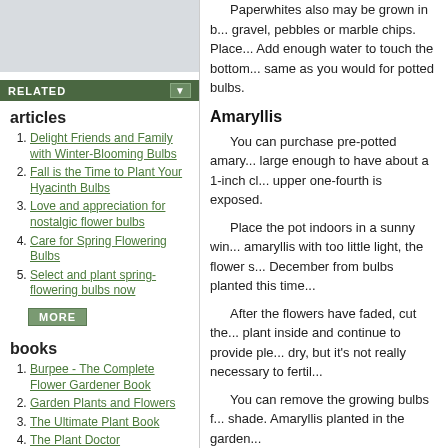[Figure (other): Grey placeholder image box at top of left sidebar]
RELATED
articles
Delight Friends and Family with Winter-Blooming Bulbs
Fall is the Time to Plant Your Hyacinth Bulbs
Love and appreciation for nostalgic flower bulbs
Care for Spring Flowering Bulbs
Select and plant spring-flowering bulbs now
books
Burpee - The Complete Flower Gardener Book
Garden Plants and Flowers
The Ultimate Plant Book
The Plant Doctor
Designing Borders for Sun and Shade
products
Paperwhites also may be grown in b... gravel, pebbles or marble chips. Place... Add enough water to touch the bottom... same as you would for potted bulbs.
Amaryllis
You can purchase pre-potted amary... large enough to have about a 1-inch cl... upper one-fourth is exposed.
Place the pot indoors in a sunny win... amaryllis with too little light, the flower s... December from bulbs planted this time...
After the flowers have faded, cut the... plant inside and continue to provide ple... dry, but it's not really necessary to fertil...
You can remove the growing bulbs f... shade. Amaryllis planted in the garden...
Forcing bulbs that need chilling
This is more a technique for growing... bloom about the same time as those in... spring bulbs except paperwhites (and o...
Purchase high-quality spring bulbs b... weeks (do not put apples or other frui...